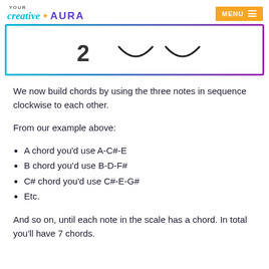YOUR creative ✦ AURA  MENU
[Figure (illustration): Decorative image showing the number 2 and two arc/smile shapes inside a box with a cyan-to-purple gradient border]
We now build chords by using the three notes in sequence clockwise to each other.
From our example above:
A chord you'd use A-C#-E
B chord you'd use B-D-F#
C# chord you'd use C#-E-G#
Etc.
And so on, until each note in the scale has a chord. In total you'll have 7 chords.